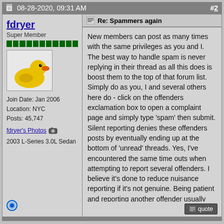08-28-2020, 09:31 AM   #2
fdryer
Super Member
[Figure (photo): Yellow rubber duck avatar image]
Join Date: Jan 2006
Location: NYC
Posts: 45,747
fdryer's Photos
2003 L-Series 3.0L Sedan
Re: Spammers again
New members can post as many times with the same privileges as you and I. The best way to handle spam is never replying in their thread as all this does is boost them to the top of that forum list. Simply do as you, I and several others here do - click on the offenders exclamation box to open a complaint page and simply type 'spam' then submit. Silent reporting denies these offenders posts by eventually ending up at the bottom of 'unread' threads. Yes, I've encountered the same time outs when attempting to report several offenders. I believe it's done to reduce nuisance reporting if it's not genuine. Being patient and reporting another offender usually means good intentions and ultimately Charlie's discretion to determine genuine from false reports.